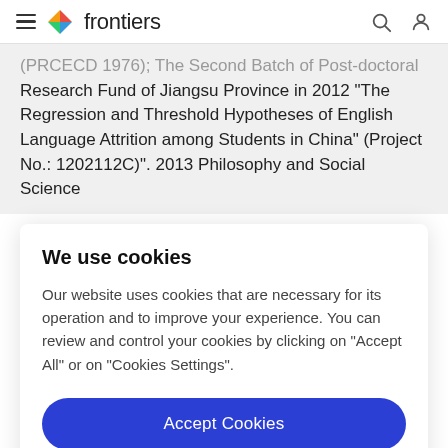frontiers
(PRCECD 1976); The Second Batch of Post-doctoral Research Fund of Jiangsu Province in 2012 "The Regression and Threshold Hypotheses of English Language Attrition among Students in China" (Project No.: 1202112C)". 2013 Philosophy and Social Science
We use cookies
Our website uses cookies that are necessary for its operation and to improve your experience. You can review and control your cookies by clicking on "Accept All" or on "Cookies Settings".
Accept Cookies
Cookies Settings